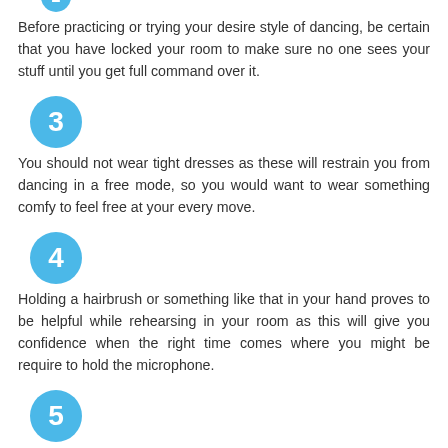[Figure (infographic): Blue circle badge with number 2 (partially visible at top)]
Before practicing or trying your desire style of dancing, be certain that you have locked your room to make sure no one sees your stuff until you get full command over it.
[Figure (infographic): Blue circle badge with number 3]
You should not wear tight dresses as these will restrain you from dancing in a free mode, so you would want to wear something comfy to feel free at your every move.
[Figure (infographic): Blue circle badge with number 4]
Holding a hairbrush or something like that in your hand proves to be helpful while rehearsing in your room as this will give you confidence when the right time comes where you might be require to hold the microphone.
[Figure (infographic): Blue circle badge with number 5]
It is considered very helpful that you dance in front of a mirror so you could see for yourself what you are doing and